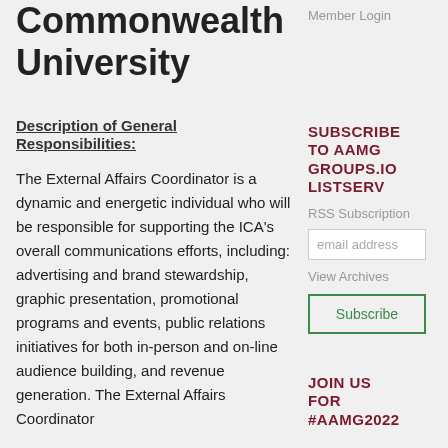Commonwealth University
Member Login
Description of General Responsibilities:
The External Affairs Coordinator is a dynamic and energetic individual who will be responsible for supporting the ICA's overall communications efforts, including: advertising and brand stewardship, graphic presentation, promotional programs and events, public relations initiatives for both in-person and on-line audience building, and revenue generation. The External Affairs Coordinator
SUBSCRIBE TO AAMG GROUPS.IO LISTSERV
RSS Subscription
email address
View Archives
Subscribe
JOIN US FOR #AAMG2022